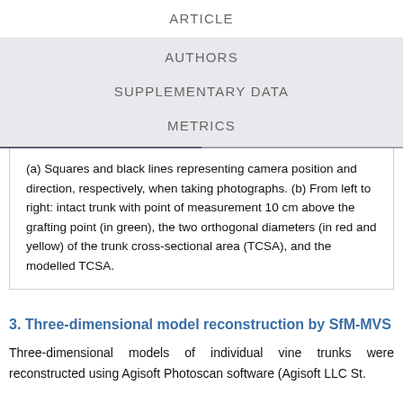ARTICLE
AUTHORS
SUPPLEMENTARY DATA
METRICS
(a) Squares and black lines representing camera position and direction, respectively, when taking photographs. (b) From left to right: intact trunk with point of measurement 10 cm above the grafting point (in green), the two orthogonal diameters (in red and yellow) of the trunk cross-sectional area (TCSA), and the modelled TCSA.
3. Three-dimensional model reconstruction by SfM-MVS
Three-dimensional models of individual vine trunks were reconstructed using Agisoft Photoscan software (Agisoft LLC St.